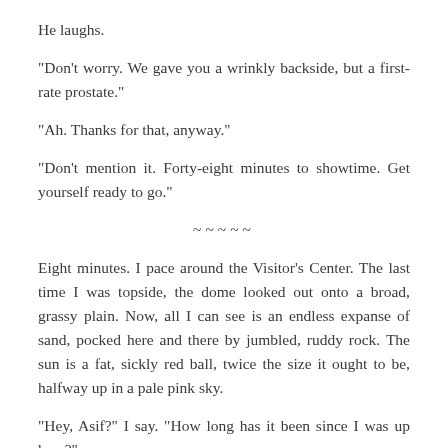He laughs.
“Don’t worry. We gave you a wrinkly backside, but a first-rate prostate.”
“Ah. Thanks for that, anyway.”
“Don’t mention it. Forty-eight minutes to showtime. Get yourself ready to go.”
~~~~~
Eight minutes. I pace around the Visitor’s Center. The last time I was topside, the dome looked out onto a broad, grassy plain. Now, all I can see is an endless expanse of sand, pocked here and there by jumbled, ruddy rock. The sun is a fat, sickly red ball, twice the size it ought to be, halfway up in a pale pink sky.
“Hey, Asif?” I say. “How long has it been since I was up here?”